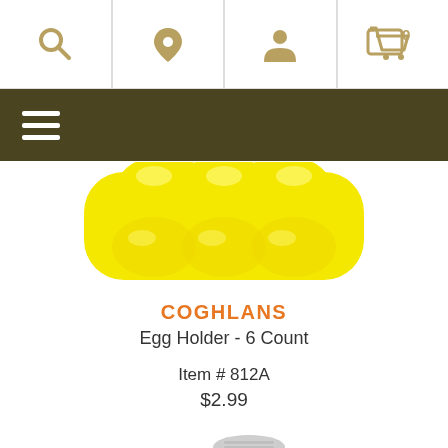[Figure (screenshot): Website navigation bar with search, location, account, and cart icons]
[Figure (screenshot): Dark olive hamburger menu bar]
[Figure (photo): Yellow egg holder product photo showing 6-count plastic egg carrier]
COGHLANS
Egg Holder - 6 Count
Item # 812A
$2.99
[Figure (photo): Partially visible red and clear plastic spice or condiment containers at bottom of page]